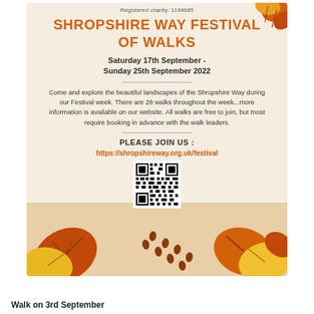[Figure (illustration): Autumn-themed festival of walks flyer with orange and yellow maple leaf decorations, QR code, and cream/beige background. Registered charity: 1194685.]
SHROPSHIRE WAY FESTIVAL OF WALKS
Saturday 17th September - Sunday 25th September 2022
Come and explore the beautiful landscapes of the Shropshire Way during our Festival week. There are 28 walks throughout the week...more information is available on our website. All walks are free to join, but most require booking in advance with the walk leaders.
PLEASE JOIN US :
https://shropshireway.org.uk/festival
Walk on 3rd September